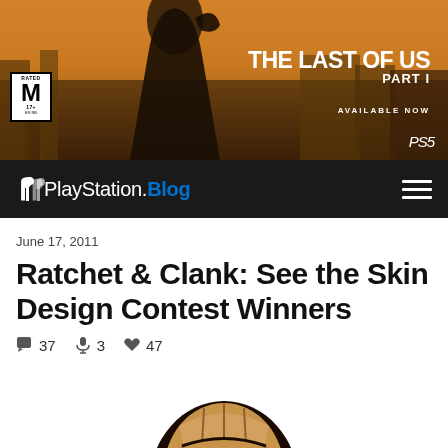[Figure (photo): The Last of Us Part I advertisement banner showing a young woman with a ponytail in a post-apocalyptic setting with destroyed buildings and orange sky. ESRB M rating box shown at left, PlayStation 5 logo at bottom right. Text reads: THE LAST OF US PART I, AVAILABLE NOW, PS5.]
[Figure (screenshot): PlayStation Blog navigation bar with PlayStation logo, 'PlayStation.Blog' text in white and blue, and hamburger menu icon on black background.]
June 17, 2011
Ratchet & Clank: See the Skin Design Contest Winners
37  3  47 (comments, microphone, hearts icons)
[Figure (illustration): Cartoon/illustrated character face with a wooden totem-style mask design, brown/tan colors with geometric features, cropped at the bottom of the page.]